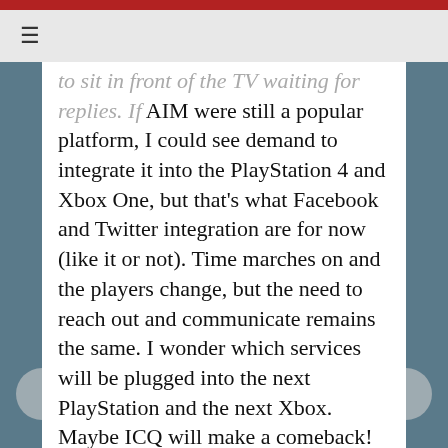≡
to sit in front of the TV waiting for replies. If AIM were still a popular platform, I could see demand to integrate it into the PlayStation 4 and Xbox One, but that's what Facebook and Twitter integration are for now (like it or not). Time marches on and the players change, but the need to reach out and communicate remains the same. I wonder which services will be plugged into the next PlayStation and the next Xbox. Maybe ICQ will make a comeback!
Posted at 05:37 PM in Sony | 🔗 Permalink | 💬 Comments (1)
[Figure (infographic): Social sharing buttons for Twitter (blue), Pinterest (red), and Facebook (purple/blue)]